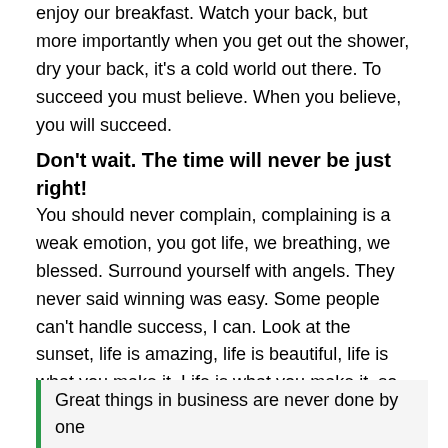enjoy our breakfast. Watch your back, but more importantly when you get out the shower, dry your back, it's a cold world out there. To succeed you must believe. When you believe, you will succeed.
Don't wait. The time will never be just right!
You should never complain, complaining is a weak emotion, you got life, we breathing, we blessed. Surround yourself with angels. They never said winning was easy. Some people can't handle success, I can. Look at the sunset, life is amazing, life is beautiful, life is what you make it. Life is what you make it, so let's make it. You should never complain, complaining is a weak emotion, you got life, we breathing, we blessed.
Great things in business are never done by one